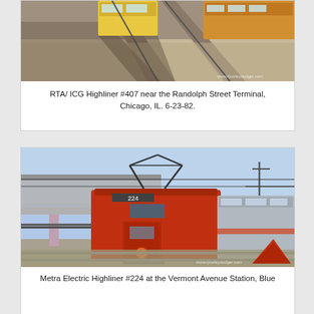[Figure (photo): Aerial view of RTA/ICG Highliner #407 train near the Randolph Street Terminal, Chicago, IL. Taken 6-23-82. Shows train cars on tracks from above with gravel ballast visible.]
RTA/ ICG Highliner #407 near the Randolph Street Terminal, Chicago, IL. 6-23-82.
[Figure (photo): Metra Electric Highliner #224 at the Vermont Avenue Station, Blue Island line. Shows front of red and silver double-deck commuter rail car with pantograph raised, under an elevated structure.]
Metra Electric Highliner #224 at the Vermont Avenue Station, Blue